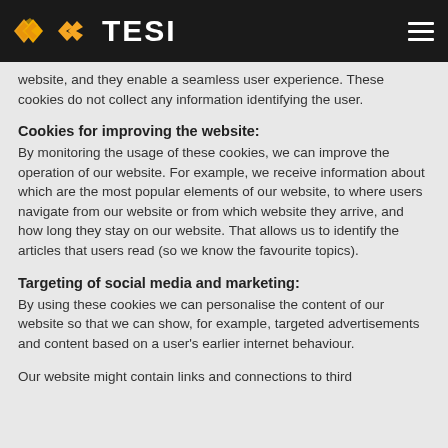[Figure (logo): TESI logo with orange double-arrow icon on black header bar, with hamburger menu icon on the right]
website, and they enable a seamless user experience. These cookies do not collect any information identifying the user.
Cookies for improving the website:
By monitoring the usage of these cookies, we can improve the operation of our website. For example, we receive information about which are the most popular elements of our website, to where users navigate from our website or from which website they arrive, and how long they stay on our website. That allows us to identify the articles that users read (so we know the favourite topics).
Targeting of social media and marketing:
By using these cookies we can personalise the content of our website so that we can show, for example, targeted advertisements and content based on a user's earlier internet behaviour.
Our website might contain links and connections to third